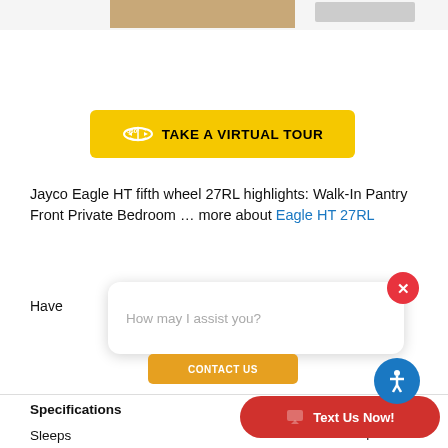[Figure (photo): Partial view of an RV/fifth wheel product image at top of page]
[Figure (other): Yellow 360-degree virtual tour button with icon and text TAKE A VIRTUAL TOUR]
Jayco Eagle HT fifth wheel 27RL highlights: Walk-In Pantry Front Private Bedroom … more about Eagle HT 27RL
Have
How may I assist you?
CONTACT US
Specifications
Sleeps    4